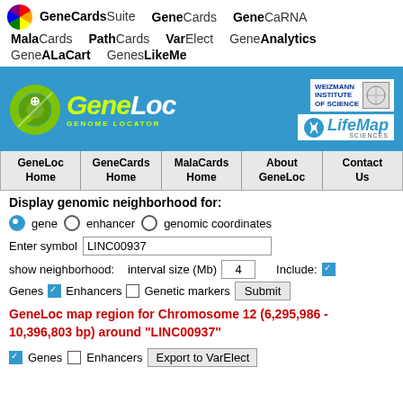GeneCardsSuite  GeneCards  GeneCaRNA  MalaCards  PathCards  VarElect  GeneAnalytics  GeneALaCart  GenesLikeMe
[Figure (screenshot): GeneCards Suite navigation bar with logo and product links]
[Figure (logo): GeneLoc Genome Locator banner with Weizmann Institute of Science and LifeMap Sciences logos]
| GeneLoc Home | GeneCards Home | MalaCards Home | About GeneLoc | Contact Us |
| --- | --- | --- | --- | --- |
Display genomic neighborhood for:
gene  enhancer  genomic coordinates
Enter symbol  LINC00937
show neighborhood:   interval size (Mb)  4   Include:  Genes  Enhancers  Genetic markers  Submit
GeneLoc map region for Chromosome 12 (6,295,986 - 10,396,803 bp) around "LINC00937"
Genes  Enhancers  Export to VarElect